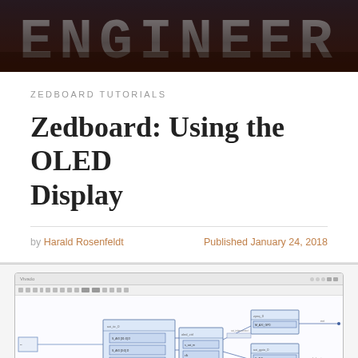[Figure (photo): Dark banner image with large stylized letters forming a website/blog logo, with a reddish-brown textured background]
ZEDBOARD TUTORIALS
Zedboard: Using the OLED Display
by Harald Rosenfeldt   Published January 24, 2018
[Figure (screenshot): Screenshot of a Vivado block design showing an FPGA schematic/block diagram with interconnected IP blocks for OLED display control on ZedBoard]